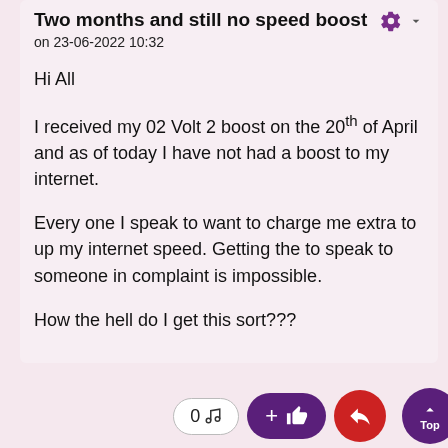Two months and still no speed boost
on 23-06-2022 10:32
Hi All

I received my 02 Volt 2 boost on the 20th of April and as of today I have not had a boost to my internet.

Every one I speak to want to charge me extra to up my internet speed. Getting the to speak to someone in complaint is impossible.

How the hell do I get this sort???